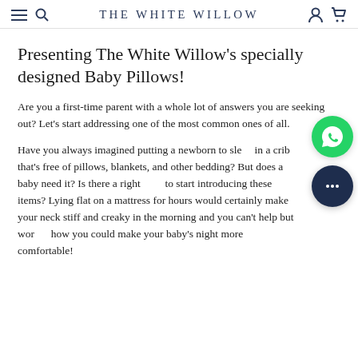THE WHITE WILLOW
Presenting The White Willow's specially designed Baby Pillows!
Are you a first-time parent with a whole lot of answers you are seeking out? Let's start addressing one of the most common ones of all.
Have you always imagined putting a newborn to sleep in a crib that's free of pillows, blankets, and other bedding? But does a baby need it? Is there a right time to start introducing these items? Lying flat on a mattress for hours would certainly make your neck stiff and creaky in the morning and you can't help but wonder how you could make your baby's night more comfortable!